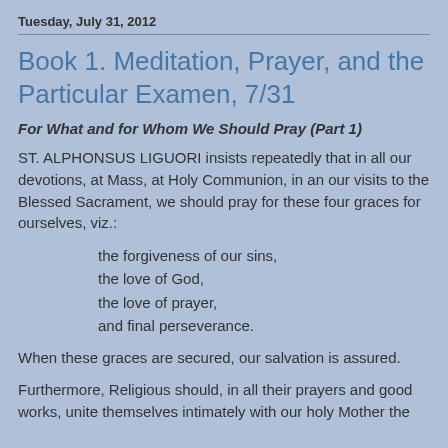Tuesday, July 31, 2012
Book 1. Meditation, Prayer, and the Particular Examen, 7/31
For What and for Whom We Should Pray (Part 1)
ST. ALPHONSUS LIGUORI insists repeatedly that in all our devotions, at Mass, at Holy Communion, in an our visits to the Blessed Sacrament, we should pray for these four graces for ourselves, viz.:
the forgiveness of our sins,
the love of God,
the love of prayer,
and final perseverance.
When these graces are secured, our salvation is assured.
Furthermore, Religious should, in all their prayers and good works, unite themselves intimately with our holy Mother the